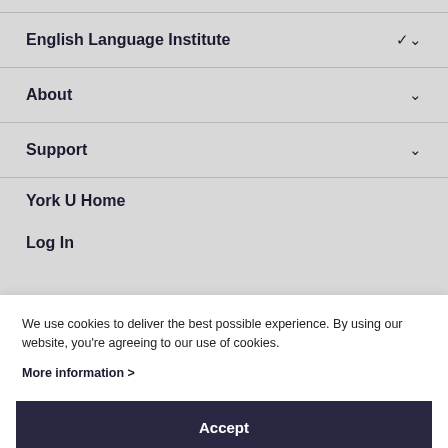English Language Institute
About
Support
York U Home
Log In
We use cookies to deliver the best possible experience. By using our website, you're agreeing to our use of cookies.
More information >
Accept
Studies